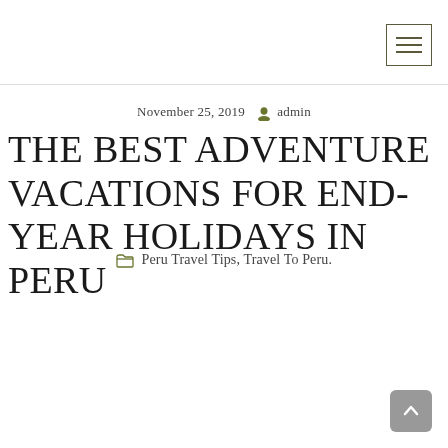November 25, 2019  admin
THE BEST ADVENTURE VACATIONS FOR END-YEAR HOLIDAYS IN PERU
Peru Travel Tips, Travel To Peru.